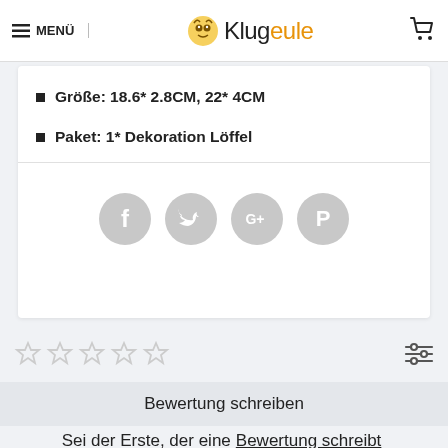MENÜ | Klugeule | (cart icon)
Größe: 18.6* 2.8CM, 22* 4CM
Paket: 1* Dekoration Löffel
[Figure (illustration): Four social media icons (Facebook, Twitter, Google+, Pinterest) in gray circles]
[Figure (other): Five empty star rating icons and a filter/settings icon on the right]
Bewertung schreiben
Sei der Erste, der eine Bewertung schreibt